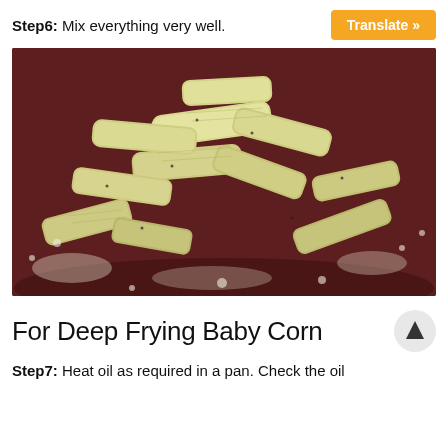Step6: Mix everything very well.
[Figure (photo): Close-up photo of flour-coated baby corn pieces mixed together in a dark red bowl, ready for deep frying.]
For Deep Frying Baby Corn
Step7: Heat oil as required in a pan. Check the oil